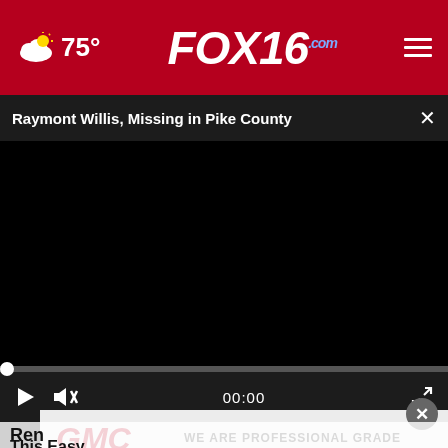75° FOX16.com
Raymont Willis, Missing in Pike County
[Figure (screenshot): Embedded video player showing a black video frame with playback controls. Progress bar at bottom showing 00:00 timecode. Play button and mute button visible on left side of controls. Fullscreen button on right.]
[Figure (photo): Partial photo visible below video player showing a person's face/mouth area]
[Figure (logo): GMC logo with text WE ARE PROFESSIONAL GRADE]
Ren... This Easy